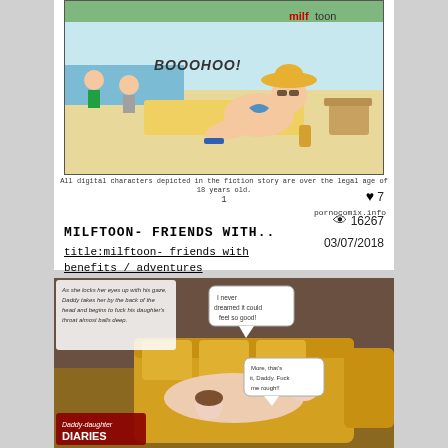[Figure (illustration): Cartoon comic panel showing a beach scene with a woman in a bikini sunbathing, with milftoon watermark. Caption text reads: 'All digital characters depicted in the fiction story are over the legal age of 18 years old.' with number 1 and 'pornocomix.info' text below.]
MILFTOON- FRIENDS WITH..
title:milftoon- friends with benefits / adventures
♥ 7
👁 16267
03/07/2018
[Figure (illustration): 3D rendered comic panel showing an indoor scene on a yellow couch. Speech bubbles say 'I never dreamed it could feel so good!' and 'More, that's it, Daddy. Fuck me rough!!' with narrative text and Daddy-Daughter Diaries logo/watermark.]